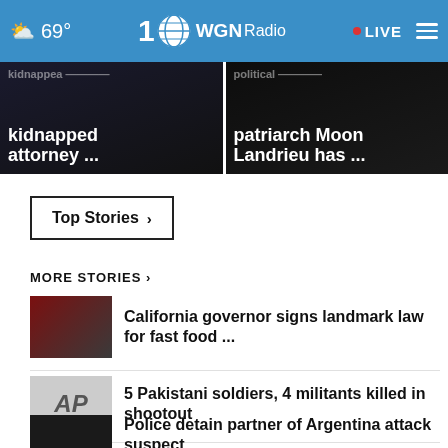69° WGN Radio 100 · LIVE
[Figure (screenshot): Two dark news hero images side by side: left shows 'kidnapped attorney ...' headline, right shows 'patriarch Moon Landrieu has ...' headline]
kidnapped attorney ...
patriarch Moon Landrieu has ...
Top Stories ›
MORE STORIES ›
California governor signs landmark law for fast food ...
5 Pakistani soldiers, 4 militants killed in shootout
Police detain partner of Argentina attack suspect